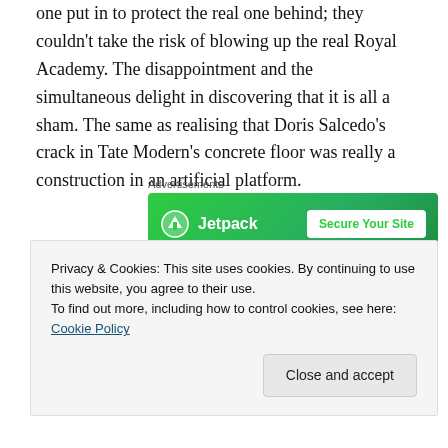one put in to protect the real one behind; they couldn't take the risk of blowing up the real Royal Academy. The disappointment and the simultaneous delight in discovering that it is all a sham. The same as realising that Doris Salcedo's crack in Tate Modern's concrete floor was really a construction in an artificial platform.
Advertisements
[Figure (other): Jetpack advertisement banner with green background, Jetpack logo and 'Secure Your Site' button]
[Figure (photo): Grayscale photograph, partially visible, showing a dark background with light streak]
Privacy & Cookies: This site uses cookies. By continuing to use this website, you agree to their use.
To find out more, including how to control cookies, see here: Cookie Policy
Close and accept